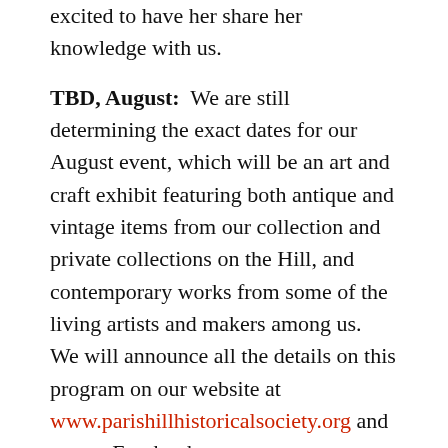excited to have her share her knowledge with us.
TBD, August: We are still determining the exact dates for our August event, which will be an art and craft exhibit featuring both antique and vintage items from our collection and private collections on the Hill, and contemporary works from some of the living artists and makers among us.   We will announce all the details on this program on our website at www.parishillhistoricalsociety.org and on our Facebook page.
In keeping with our theme, we are also working on having beautiful Peg Doore reproduction note cards made that will be available for sale this summer and beyond.  Sale of these cards will benefit the society and